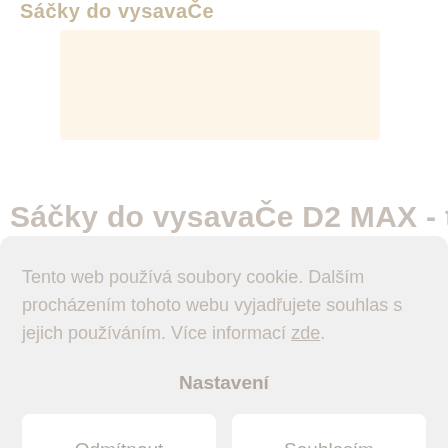Sáčky do vysavaČe
[Figure (photo): Product image placeholder box with light beige/cream background]
Sáčky do vysavaČe D2 MAX - textilní
Tento web používá soubory cookie. Dalším procházením tohoto webu vyjadřujete souhlas s jejich používáním. Více informací zde.
Nastavení
Odmítnout
Souhlasím